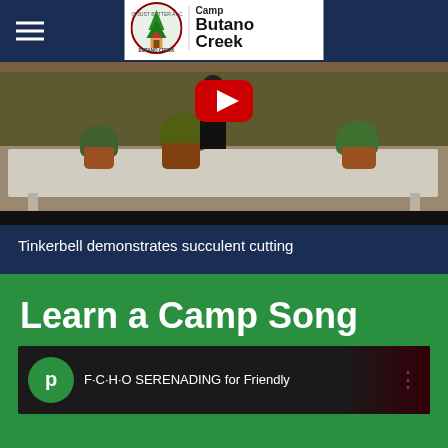Camp Butano Creek
[Figure (screenshot): Video thumbnail showing a person in black clothing standing behind a long white folding table with potted succulent plants, in front of a wooden fence. A red YouTube play button is visible at the top center.]
Tinkerbell demonstrates succulent cutting
Learn a Camp Song
[Figure (screenshot): Video thumbnail showing a green circular avatar with letter 'p', followed by text 'F·C·H·O SERENADING for Friendly' and a three-dot menu icon on dark background.]